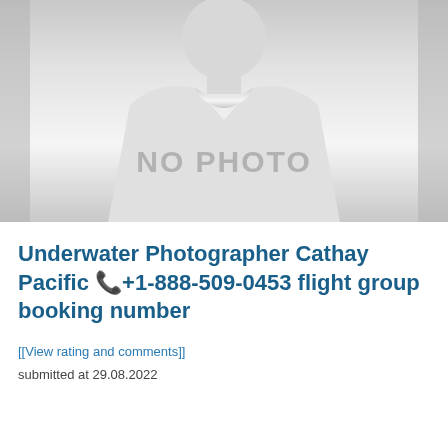[Figure (photo): No photo placeholder image with a silhouette of a person (shirt/ID badge shape) in gray tones, with 'NO PHOTO' text in the center]
Underwater Photographer Cathay Pacific 📞+1-888-509-0453 flight group booking number
[[View rating and comments]]
submitted at 29.08.2022